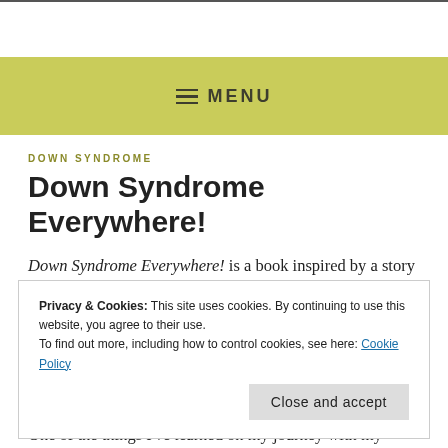MENU
DOWN SYNDROME
Down Syndrome Everywhere!
Down Syndrome Everywhere! is a book inspired by a story I saw on TV.  The story was about how parents now can choose the genetic traits of their children.
Privacy & Cookies: This site uses cookies. By continuing to use this website, you agree to their use.
To find out more, including how to control cookies, see here: Cookie Policy
One of the things I've learned on my journey with my